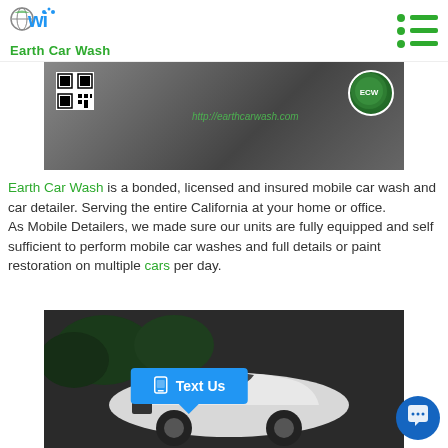[Figure (logo): Earth Car Wash logo with globe and stylized 'w' letters in blue/green, with 'Earth Car Wash' text in green below]
[Figure (photo): Top photo of a dark car with QR code on left, 'http://earthcarwash.com' URL in green text, and circular green Earth Car Wash logo on right]
Earth Car Wash is a bonded, licensed and insured mobile car wash and car detailer. Serving the entire California at your home or office.
As Mobile Detailers, we made sure our units are fully equipped and self sufficient to perform mobile car washes and full details or paint restoration on multiple cars per day.
[Figure (photo): Photo of a white Bentley luxury car parked in a driveway with trees in background, with a blue 'Text Us' button overlay]
[Figure (other): Blue chat bubble icon in bottom right corner]